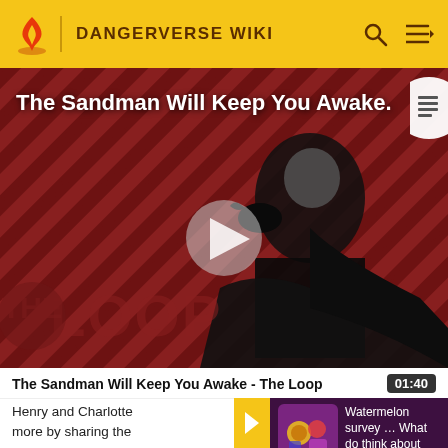DANGERVERSE WIKI
[Figure (screenshot): Video thumbnail for 'The Sandman Will Keep You Awake - The Loop' showing a dark-cloaked figure against a red diagonal striped background with THE LOOP text overlay and a play button]
The Sandman Will Keep You Awake - The Loop  01:40
Henry and Charlotte more by sharing the finger they want to p conclude that by elim
[Figure (infographic): Watermelon survey ad thumbnail with colorful icons]
Watermelon survey … What do think about Harry Styles? TAKE THE SURVEY HERE